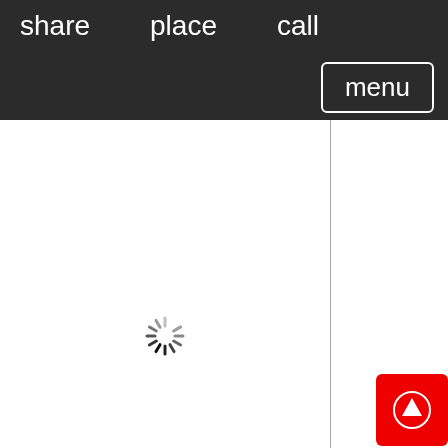share   place   call
menu
[Figure (screenshot): White content panel row 1 - empty white box]
[Figure (screenshot): White content panel row 2 with loading spinner in center]
[Figure (screenshot): White content panel row 3 - empty white box]
[Figure (illustration): Red floating action button with white upward arrow icon in bottom-right corner]